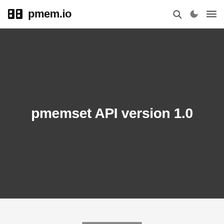pmem.io
pmemset API version 1.0